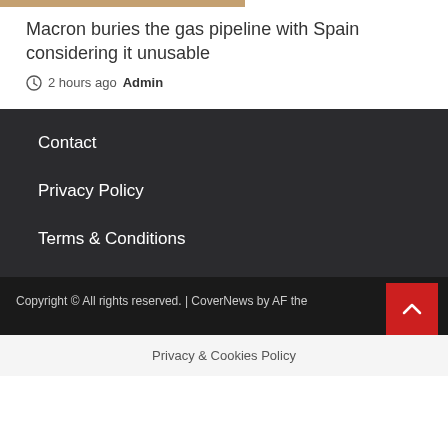[Figure (photo): Partial image visible at top of page, appears to be a news article thumbnail]
Macron buries the gas pipeline with Spain considering it unusable
2 hours ago  Admin
Contact
Privacy Policy
Terms & Conditions
Copyright © All rights reserved. | CoverNews by AF the
Privacy & Cookies Policy